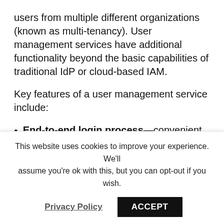users from multiple different organizations (known as multi-tenancy). User management services have additional functionality beyond the basic capabilities of traditional IdP or cloud-based IAM.
Key features of a user management service include:
End-to-end login process—convenient, secure login interface, supporting multiple login options. These can include direct login, enterprise single sign on (SSO), and social login using existing accounts in services like Google, Facebook, and
This website uses cookies to improve your experience. We'll assume you're ok with this, but you can opt-out if you wish.
Privacy Policy   ACCEPT